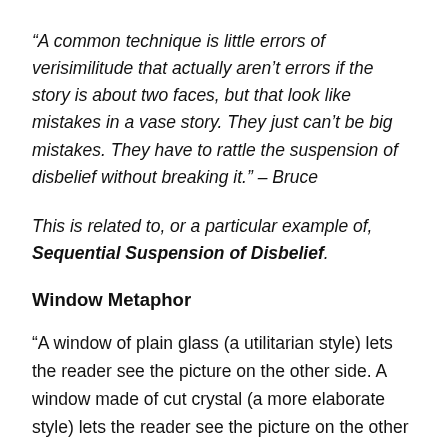“A common technique is little errors of verisimilitude that actually aren’t errors if the story is about two faces, but that look like mistakes in a vase story. They just can’t be big mistakes. They have to rattle the suspension of disbelief without breaking it.” – Bruce
This is related to, or a particular example of, Sequential Suspension of Disbelief.
Window Metaphor
“A window of plain glass (a utilitarian style) lets the reader see the picture on the other side. A window made of cut crystal (a more elaborate style) lets the reader see the picture on the other side, and also shows how beautiful the glass itself is (at some cost to clear vision). A window of stained glass (highly stylized) may make the picture on